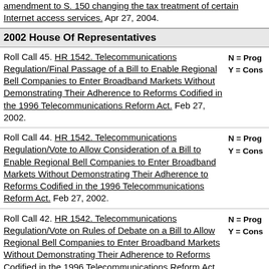amendment to S. 150 changing the tax treatment of certain Internet access services. Apr 27, 2004.
2002 House Of Representatives
Roll Call 45. HR 1542. Telecommunications Regulation/Final Passage of a Bill to Enable Regional Bell Companies to Enter Broadband Markets Without Demonstrating Their Adherence to Reforms Codified in the 1996 Telecommunications Reform Act. Feb 27, 2002. N = Prog Y = Cons
Roll Call 44. HR 1542. Telecommunications Regulation/Vote to Allow Consideration of a Bill to Enable Regional Bell Companies to Enter Broadband Markets Without Demonstrating Their Adherence to Reforms Codified in the 1996 Telecommunications Reform Act. Feb 27, 2002. N = Prog Y = Cons
Roll Call 42. HR 1542. Telecommunications Regulation/Vote on Rules of Debate on a Bill to Allow Regional Bell Companies to Enter Broadband Markets Without Demonstrating Their Adherence to Reforms Codified in the 1996 Telecommunications Reform Act. Feb 27, 2002. N = Prog Y = Cons